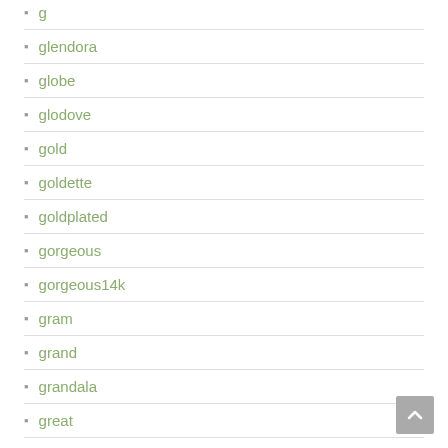glendora
globe
glodove
gold
goldette
goldplated
gorgeous
gorgeous14k
gram
grand
grandala
great
greek
green